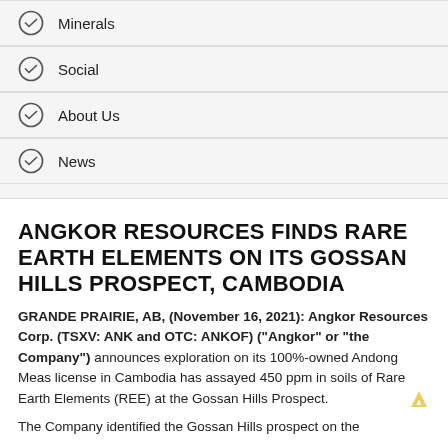Minerals
Social
About Us
News
ANGKOR RESOURCES FINDS RARE EARTH ELEMENTS ON ITS GOSSAN HILLS PROSPECT, CAMBODIA
GRANDE PRAIRIE, AB, (November 16, 2021): Angkor Resources Corp. (TSXV: ANK and OTC: ANKOF) (“Angkor” or “the Company”) announces exploration on its 100%-owned Andong Meas license in Cambodia has assayed 450 ppm in soils of Rare Earth Elements (REE) at the Gossan Hills Prospect.
The Company identified the Gossan Hills prospect on the